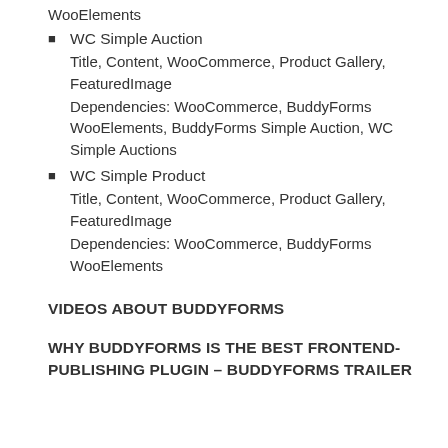WooElements
WC Simple Auction
Title, Content, WooCommerce, Product Gallery, FeaturedImage
Dependencies: WooCommerce, BuddyForms WooElements, BuddyForms Simple Auction, WC Simple Auctions
WC Simple Product
Title, Content, WooCommerce, Product Gallery, FeaturedImage
Dependencies: WooCommerce, BuddyForms WooElements
VIDEOS ABOUT BUDDYFORMS
WHY BUDDYFORMS IS THE BEST FRONTEND-PUBLISHING PLUGIN – BUDDYFORMS TRAILER